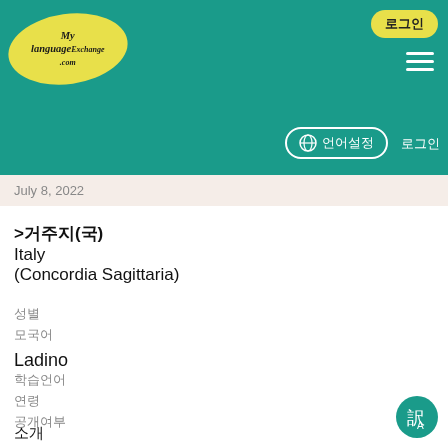MyLanguageExchange.com — header with logo, login, globe/menu
July 8, 2022
>거주지(국)
Italy
(Concordia Sagittaria)
성별
모국어
Ladino
학습언어
연령
공개여부
소개
Hola, mi nombre es Fabrizio y soy nativo italiano. Habito bastante cerca de Venecia. Quiero mucho viajar y conocer personas de todael mundo para apreciar su cultura. Estoy